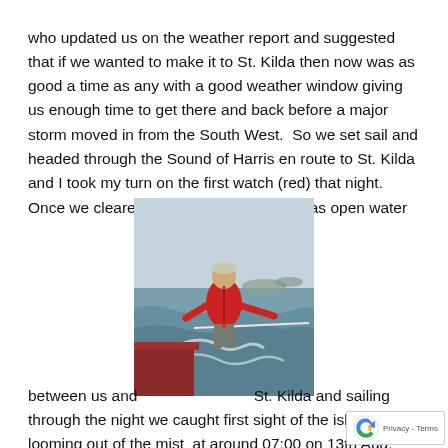who updated us on the weather report and suggested that if we wanted to make it to St. Kilda then now was as good a time as any with a good weather window giving us enough time to get there and back before a major storm moved in from the South West.  So we set sail and headed through the Sound of Harris en route to St. Kilda and I took my turn on the first watch (red) that night.  Once we cleared the Sound of Harris it was open water
[Figure (photo): Person in a red jacket standing on the deck of a boat at sea, with choppy water and distant landmass visible in the background.]
between us and St. Kilda and sailing through the night we caught first sight of the islands looming out of the mist  at around 07:00 on 13th Aug.  We anchored in the bay of Hirta  and after of the crew checked in with the island warden we all went